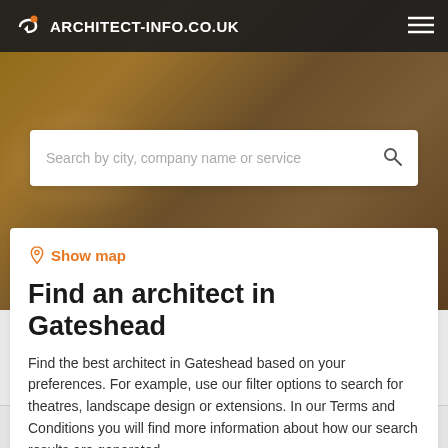ARCHITECT-INFO.CO.UK
[Figure (screenshot): Hero background image showing hands working on architectural blueprints/drawings, with brownish-golden tones]
Search by city, company name or service
Show map
Find an architect in Gateshead
Find the best architect in Gateshead based on your preferences. For example, use our filter options to search for theatres, landscape design or extensions. In our Terms and Conditions you will find more information about how our search results are generated.
Filters